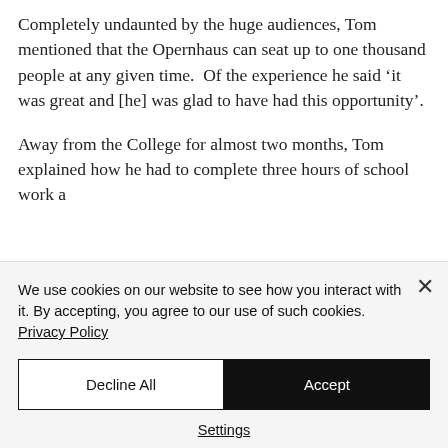Completely undaunted by the huge audiences, Tom mentioned that the Opernhaus can seat up to one thousand people at any given time.  Of the experience he said ‘it was great and [he] was glad to have had this opportunity’.
Away from the College for almost two months, Tom explained how he had to complete three hours of school work a
We use cookies on our website to see how you interact with it. By accepting, you agree to our use of such cookies. Privacy Policy
Decline All
Accept
Settings